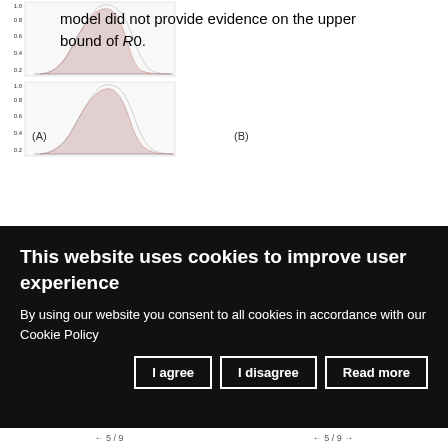model did not provide evidence on the upper bound of R0.
[Figure (continuous-plot): Panel A: A continuous plot showing a distribution/density curve (shaded in pink/grey) for what appears to be an epidemiological parameter. Y-axis label reads 'overdispersion parameter k', values 0.2 to 1.0. The x-axis is cut off. Label (A) visible.]
[Figure (continuous-plot): Panel B: A continuous plot similar to panel A. Y-axis label reads 'responsible for 80% of secondary transmissions', values 0.2 to 1.0. Label (B) visible.]
This website uses cookies to improve user experience
By using our website you consent to all cookies in accordance with our Cookie Policy